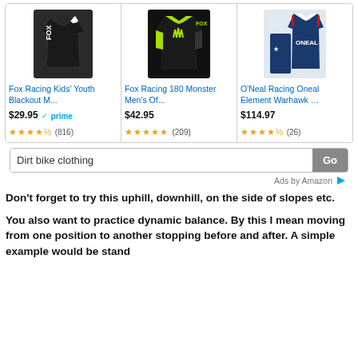[Figure (screenshot): Amazon product ad row with three motocross jerseys: Fox Racing Kids Youth Blackout M..., Fox Racing 180 Monster Men's Of..., O'Neal Racing Oneal Element Warhawk ...]
[Figure (screenshot): Search bar with 'Dirt bike clothing' query and 'Go' button, followed by 'Ads by Amazon' label]
Don't forget to try this uphill, downhill, on the side of slopes etc.
You also want to practice dynamic balance. By this I mean moving from one position to another stopping before and after. A simple example would be stand starting and then coming to a quick stop again.